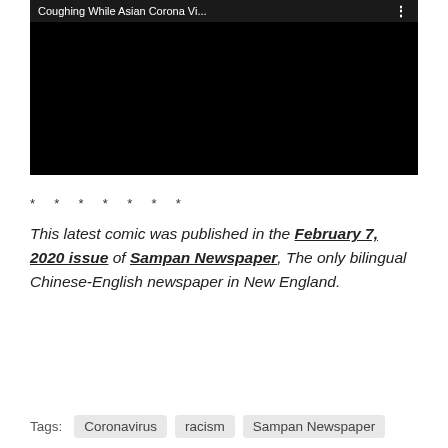[Figure (screenshot): Video thumbnail with dark title bar showing 'Coughing While Asian Corona Vi...' and a three-dot menu icon, with a black video frame below]
* * * * * * *
This latest comic was published in the February 7, 2020 issue of Sampan Newspaper, The only bilingual Chinese-English newspaper in New England.
Tags: Coronavirus  racism  Sampan Newspaper